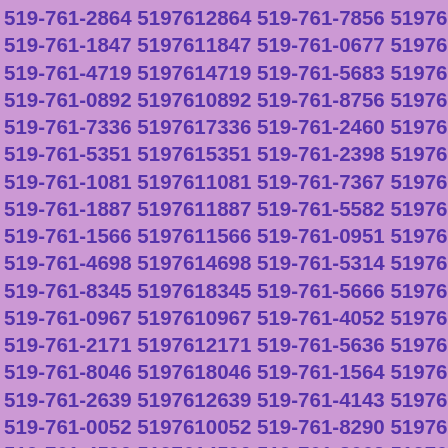519-761-2864 5197612864 519-761-7856 5197617856 519-761-1847 5197611847 519-761-0677 5197610677 519-761-4719 5197614719 519-761-5683 5197615683 519-761-0892 5197610892 519-761-8756 5197618756 519-761-7336 5197617336 519-761-2460 5197612460 519-761-5351 5197615351 519-761-2398 5197612398 519-761-1081 5197611081 519-761-7367 5197617367 519-761-1887 5197611887 519-761-5582 5197615582 519-761-1566 5197611566 519-761-0951 5197610951 519-761-4698 5197614698 519-761-5314 5197615314 519-761-8345 5197618345 519-761-5666 5197615666 519-761-0967 5197610967 519-761-4052 5197614052 519-761-2171 5197612171 519-761-5636 5197615636 519-761-8046 5197618046 519-761-1564 5197611564 519-761-2639 5197612639 519-761-4143 5197614143 519-761-0052 5197610052 519-761-8290 5197618290 519-761-4590 5197614590 519-761-8662 5197618662 519-761-6237 5197616237 519-761-4915 5197614915 519-761-0559 5197610559 519-761-1756 5197611756 519-761-2930 5197612930 519-761-8096 5197618096 519-761-4079 5197614079 519-761-5263 5197615263